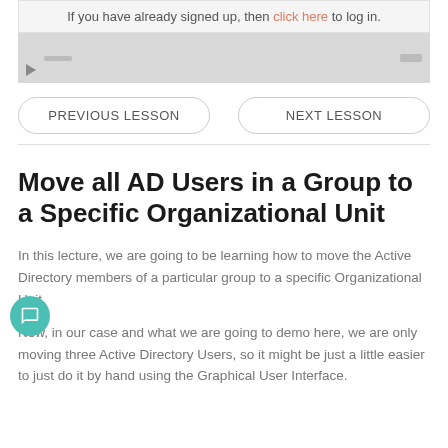If you have already signed up, then click here to log in.
[Figure (screenshot): Video player placeholder with play button and controls bar]
PREVIOUS LESSON
NEXT LESSON
Move all AD Users in a Group to a Specific Organizational Unit
In this lecture, we are going to be learning how to move the Active Directory members of a particular group to a specific Organizational Unit.
Now, in our case and what we are going to demo here, we are only moving three Active Directory Users, so it might be just a little easier to just do it by hand using the Graphical User Interface.